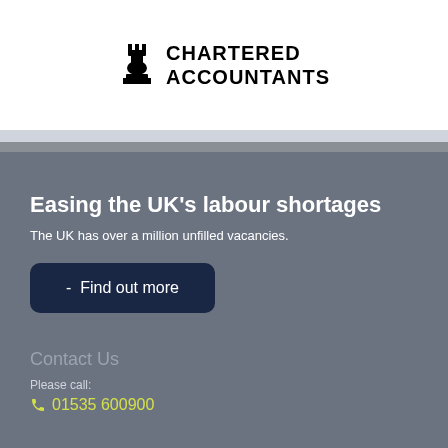[Figure (logo): Chess piece icon (rook/knight) alongside text reading CHARTERED ACCOUNTANTS in bold uppercase]
Easing the UK’s labour shortages
The UK has over a million unfilled vacancies.
- Find out more
Contact Us
Please call:
01535 600900